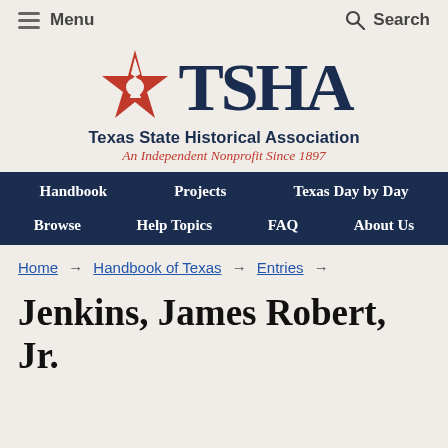Menu   Search
[Figure (logo): Texas State Historical Association (TSHA) logo with red star and TSHA text]
Texas State Historical Association
An Independent Nonprofit Since 1897
Handbook   Projects   Texas Day by Day   Browse   Help Topics   FAQ   About Us
Home → Handbook of Texas → Entries →
Jenkins, James Robert, Jr.